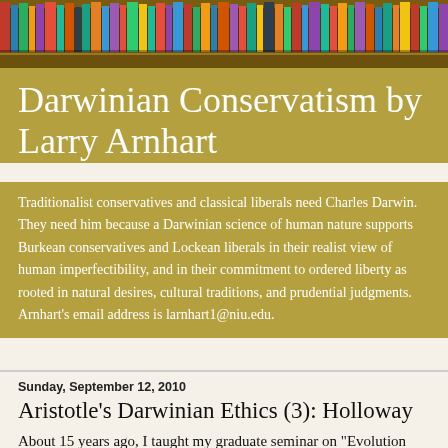[Figure (photo): Colorful bookshelf with many books of various colors and sizes on wooden shelves]
Darwinian Conservatism by Larry Arnhart
Traditionalist conservatives and classical liberals need Charles Darwin. They need him because a Darwinian science of human nature supports Burkean conservatives and Lockean liberals in their realist view of human imperfectibility, and in their commitment to ordered liberty as rooted in natural desires, cultural traditions, and prudential judgments. Arnhart's email address is larnhart1@niu.edu.
Sunday, September 12, 2010
Aristotle's Darwinian Ethics (3): Holloway on Courage and Nobility
About 15 years ago, I taught my graduate seminar on "Evolution and Political Theory" for the first time. One of the students in that